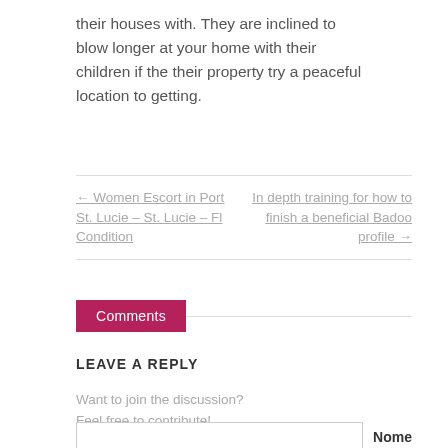their houses with. They are inclined to blow longer at your home with their children if the their property try a peaceful location to getting.
← Women Escort in Port St. Lucie – St. Lucie – Fl Condition
In depth training for how to finish a beneficial Badoo profile →
Comments
LEAVE A REPLY
Want to join the discussion?
Feel free to contribute!
Nome